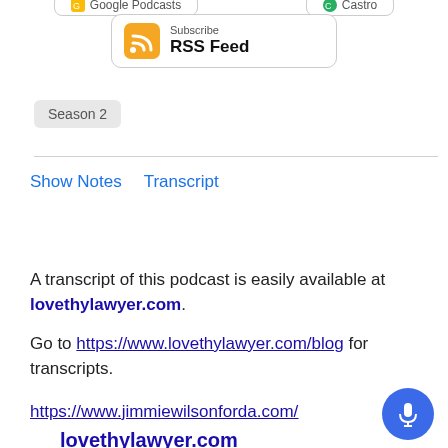[Figure (screenshot): Partially visible top buttons: Google Podcasts and Castro app subscribe buttons, cropped at top of page]
[Figure (other): RSS Feed subscribe button with orange RSS icon, text 'Subscribe' above 'RSS Feed']
Season 2
Show Notes   Transcript
lovethylawyer.com
A transcript of this podcast is easily available at lovethylawyer.com.
Go to https://www.lovethylawyer.com/blog for transcripts.
https://www.jimmiewilsonforda.com/
[Figure (other): Blue circular microphone button in bottom right corner]